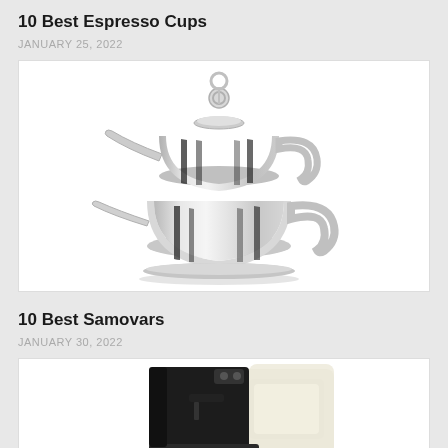10 Best Espresso Cups
JANUARY 25, 2022
[Figure (photo): Polished stainless steel double Turkish teapot (çaydanlık) with chrome finish, two spouts and two handles, isolated on white background]
10 Best Samovars
JANUARY 30, 2022
[Figure (photo): White/cream Nespresso capsule coffee machine with black accents, partially visible, isolated on white background]